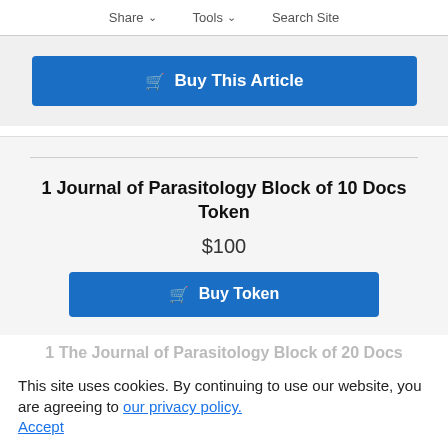Share   Tools   Search Site
[Figure (other): Blue 'Buy This Article' button with shopping cart icon]
1 Journal of Parasitology Block of 10 Docs Token
$100
[Figure (other): Blue 'Buy Token' button with shopping cart icon]
This site uses cookies. By continuing to use our website, you are agreeing to our privacy policy.
Accept
1 The Journal of Parasitology Block of 20 Docs Token